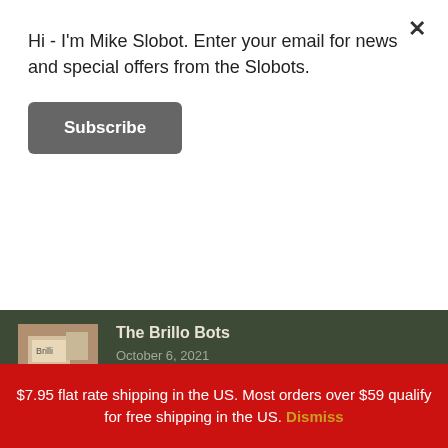Hi - I'm Mike Slobot. Enter your email for news and special offers from the Slobots.
Subscribe
The Brillo Bots
October 6, 2021
On Moby's Animal Rights, 25 Years Later...
September 9, 2021
Custom Work: The Starflyer 59 Posters
August 9, 2021
$7.95 flat rate shipping in the US. Most orders over $59 qualify for free shipping in the US. Dismiss